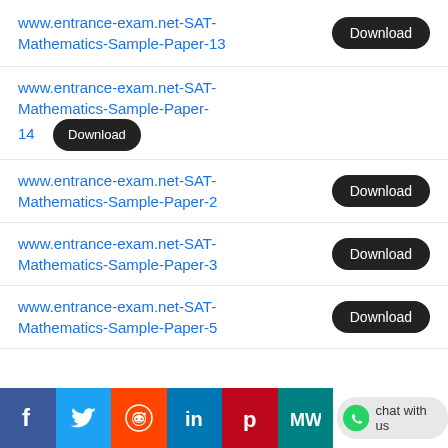www.entrance-exam.net-SAT-Mathematics-Sample-Paper-13  Download
www.entrance-exam.net-SAT-Mathematics-Sample-Paper-14  Download
www.entrance-exam.net-SAT-Mathematics-Sample-Paper-2  Download
www.entrance-exam.net-SAT-Mathematics-Sample-Paper-3  Download
www.entrance-exam.net-SAT-Mathematics-Sample-Paper-5  Download
Facebook Twitter Reddit LinkedIn Pinterest MW WhatsApp chat with us